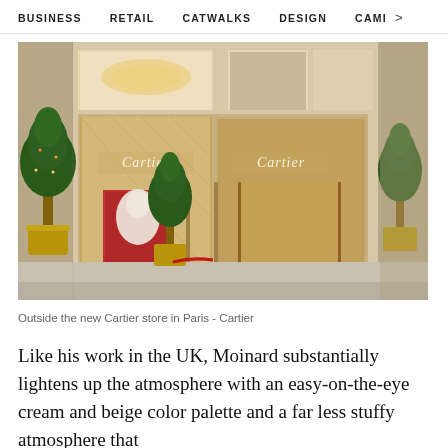BUSINESS   RETAIL   CATWALKS   DESIGN   CAMI  >
[Figure (photo): Exterior of the new Cartier store in Paris, showing gold-trimmed facade with two Cartier signs, decorated Christmas trees in gold pots, and a red display window with a white sculpture. The storefront has large glass windows and warm golden lighting inside.]
Outside the new Cartier store in Paris - Cartier
Like his work in the UK, Moinard substantially lightens up the atmosphere with an easy-on-the-eye cream and beige color palette and a far less stuffy atmosphere that